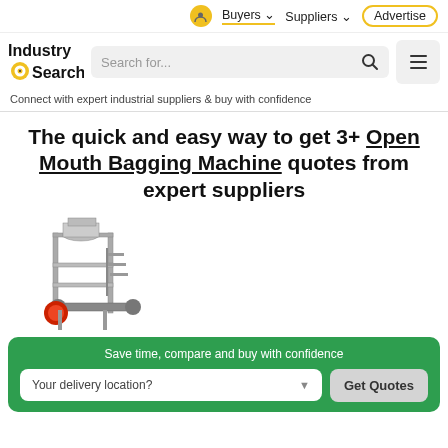Buyers  Suppliers  Advertise
[Figure (logo): IndustrySearch logo with gear icon]
Search for...
Connect with expert industrial suppliers & buy with confidence
The quick and easy way to get 3+ Open Mouth Bagging Machine quotes from expert suppliers
[Figure (photo): Open mouth bagging machine industrial equipment photo]
Save time, compare and buy with confidence
Your delivery location?
Get Quotes